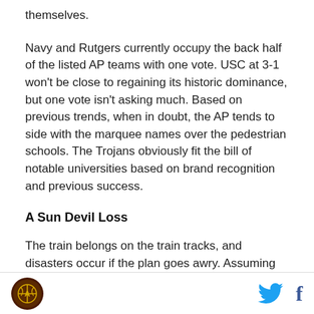themselves.
Navy and Rutgers currently occupy the back half of the listed AP teams with one vote. USC at 3-1 won't be close to regaining its historic dominance, but one vote isn't asking much. Based on previous trends, when in doubt, the AP tends to side with the marquee names over the pedestrian schools. The Trojans obviously fit the bill of notable universities based on brand recognition and previous success.
A Sun Devil Loss
The train belongs on the train tracks, and disasters occur if the plan goes awry. Assuming the Sun Devils